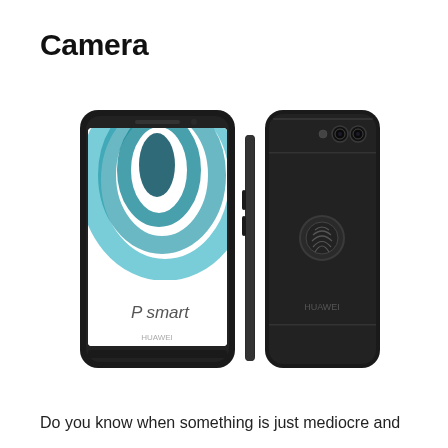Camera
[Figure (photo): Huawei P smart smartphone shown from three angles: front view showing the screen with a teal wave pattern and 'P smart' text, side profile view, and rear view showing dual cameras and fingerprint sensor, all in black color]
Do you know when something is just mediocre and